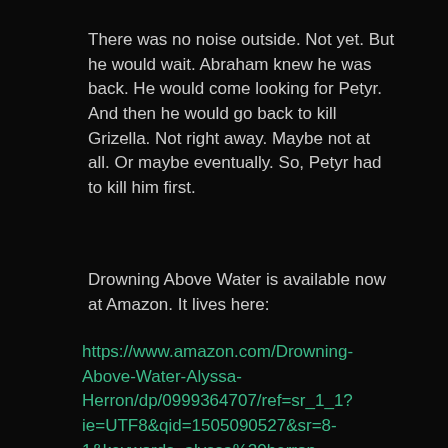There was no noise outside. Not yet. But he would wait. Abraham knew he was back. He would come looking for Petyr. And then he would go back to kill Grizella. Not right away. Maybe not at all. Or maybe eventually. So, Petyr had to kill him first.
Drowning Above Water is available now at Amazon. It lives here:
https://www.amazon.com/Drowning-Above-Water-Alyssa-Herron/dp/0999364707/ref=sr_1_1?ie=UTF8&qid=1505090527&sr=8-1&keywords=alyssa%20herron